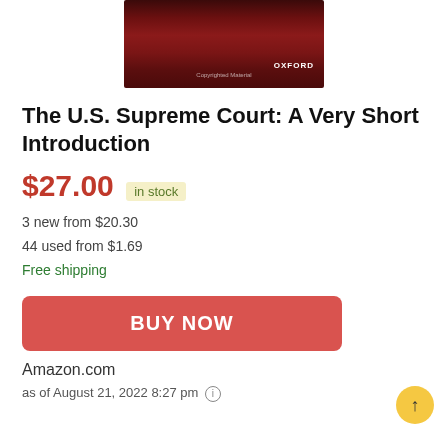[Figure (photo): Book cover image for 'The U.S. Supreme Court: A Very Short Introduction' showing a dark red/maroon textured background with OXFORD printed in white text in the lower right corner and 'Copyrighted Material' text at the bottom center.]
The U.S. Supreme Court: A Very Short Introduction
$27.00 in stock
3 new from $20.30
44 used from $1.69
Free shipping
BUY NOW
Amazon.com
as of August 21, 2022 8:27 pm ℹ